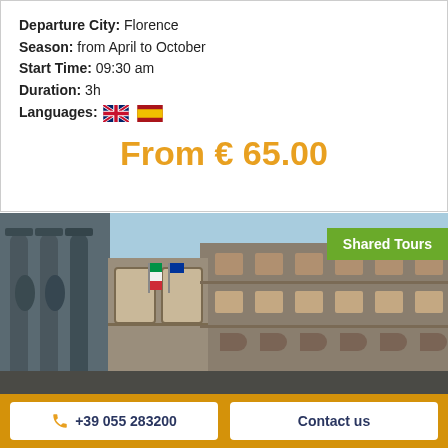Departure City: Florence
Season: from April to October
Start Time: 09:30 am
Duration: 3h
Languages: [UK flag] [Spain flag]
From € 65.00
[Figure (photo): Looking up at the Uffizi Gallery courtyard in Florence, Italy, with arched architecture and flags visible. A green 'Shared Tours' badge is overlaid in the top right corner.]
+39 055 283200
Contact us